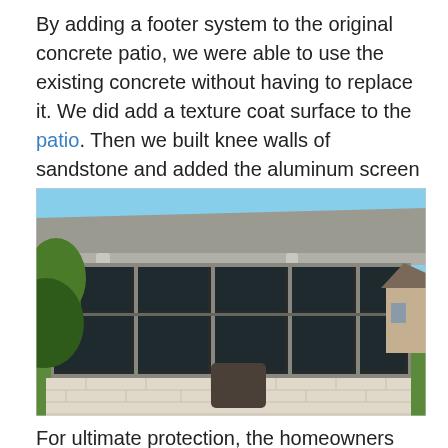By adding a footer system to the original concrete patio, we were able to use the existing concrete without having to replace it. We did add a texture coat surface to the patio. Then we built knee walls of sandstone and added the aluminum screen walls.
[Figure (photo): Exterior photo of a screened patio enclosure with aluminum screen walls, sandstone knee walls, and a gray roof overhang with gutters. Green trees and shrubs visible on the left and a neighboring house on the right.]
For ultimate protection, the homeowners chose solar